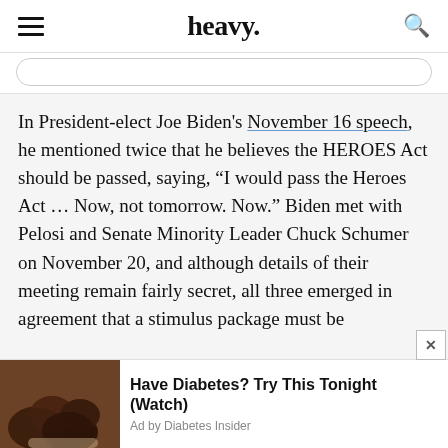heavy.
In President-elect Joe Biden's November 16 speech, he mentioned twice that he believes the HEROES Act should be passed, saying, “I would pass the Heroes Act … Now, not tomorrow. Now.” Biden met with Pelosi and Senate Minority Leader Chuck Schumer on November 20, and although details of their meeting remain fairly secret, all three emerged in agreement that a stimulus package must be
[Figure (photo): Hand holding dark brown dates or similar dried fruits]
Have Diabetes? Try This Tonight (Watch)
Ad by Diabetes Insider